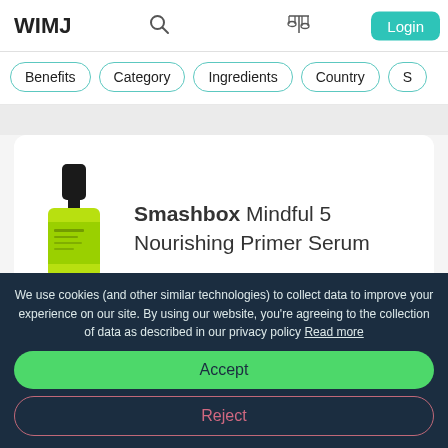WIMJ
Benefits
Category
Ingredients
Country
Smashbox Mindful 5 Nourishing Primer Serum
[Figure (photo): Product photo of Smashbox Mindful 5 Nourishing Primer Serum — a small dropper bottle with a black cap and bright green/yellow liquid, with a clear glass base and a green label.]
We use cookies (and other similar technologies) to collect data to improve your experience on our site. By using our website, you're agreeing to the collection of data as described in our privacy policy Read more
Accept
Reject